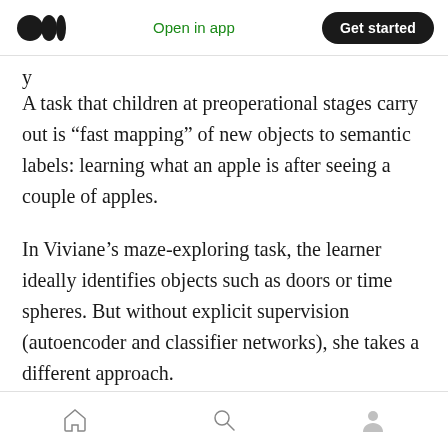Open in app  Get started
A task that children at preoperational stages carry out is “fast mapping” of new objects to semantic labels: learning what an apple is after seeing a couple of apples.
In Viviane’s maze-exploring task, the learner ideally identifies objects such as doors or time spheres. But without explicit supervision (autoencoder and classifier networks), she takes a different approach.
The idea is that we can infer what a “door” looks
Home  Search  Profile